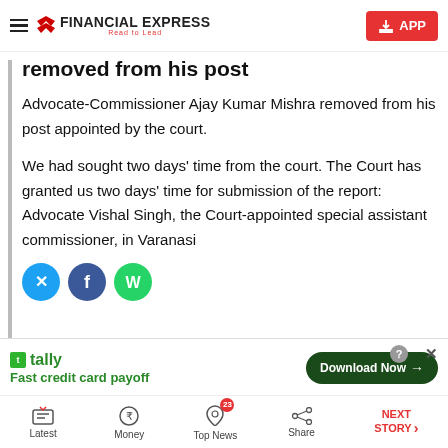FINANCIAL EXPRESS — Read to Lead | APP
removed from his post
Advocate-Commissioner Ajay Kumar Mishra removed from his post appointed by the court.
We had sought two days' time from the court. The Court has granted us two days' time for submission of the report: Advocate Vishal Singh, the Court-appointed special assistant commissioner, in Varanasi
[Figure (other): Social sharing icons: Twitter, Facebook, WhatsApp]
[Figure (other): Tally advertisement banner: Fast credit card payoff — Download Now button]
Latest | Money | Top News (23) | Share | NEXT STORY